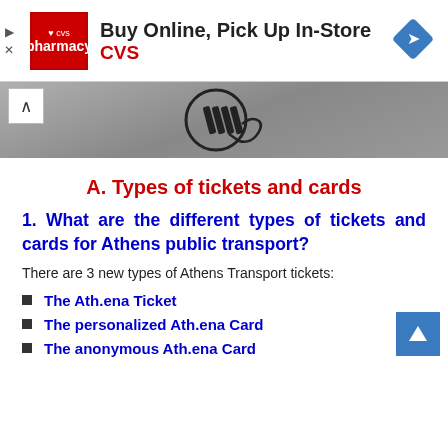[Figure (other): CVS Pharmacy advertisement banner: Buy Online, Pick Up In-Store with CVS logo and navigation diamond icon]
[Figure (photo): Close-up photo of a contactless payment/tap card icon on a grey surface]
A. Types of tickets and cards
1. What are the different types of tickets and cards for Athens public transport?
There are 3 new types of Athens Transport tickets:
The Ath.ena Ticket
The personalized Ath.ena Card
The anonymous Ath.ena Card